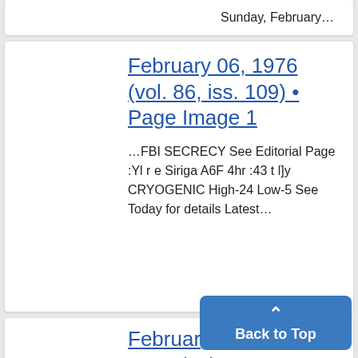Sunday, February…
February 06, 1976 (vol. 86, iss. 109) • Page Image 1
…FBI SECRECY See Editorial Page :Yl r e Siriga A6F 4hr :43 t l]y CRYOGENIC High-24 Low-5 See Today for details Latest…
February 1976 (vol.